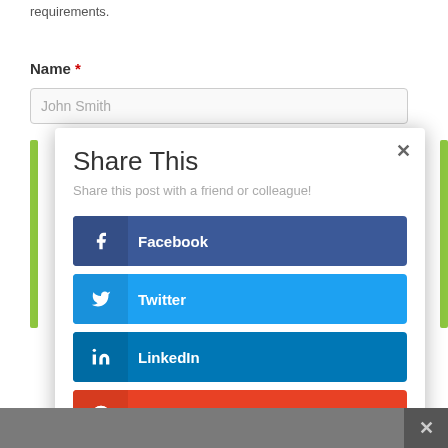requirements.
Name *
[Figure (screenshot): Text input field with placeholder 'John Smith']
Share This
Share this post with a friend or colleague!
Facebook
Twitter
LinkedIn
reddit